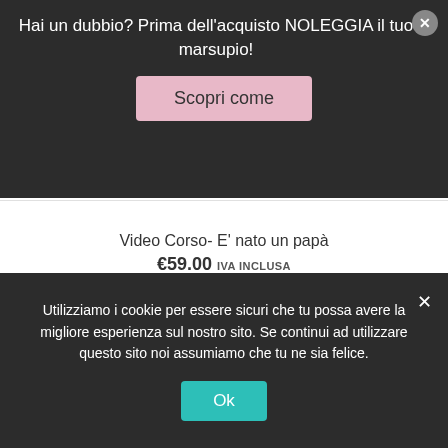Hai un dubbio? Prima dell'acquisto NOLEGGIA il tuo marsupio!
Scopri come
Video Corso- E' nato un papà
€59.00 IVA INCLUSA
Aggiungi al carrello
Utilizziamo i cookie sul nostro sito Web per offrirti l'esperienza più pertinente ricordando le tue preferenze e ripetendo le visite. Cliccando su "Accetta
Utilizziamo i cookie per essere sicuri che tu possa avere la migliore esperienza sul nostro sito. Se continui ad utilizzare questo sito noi assumiamo che tu ne sia felice.
Ok